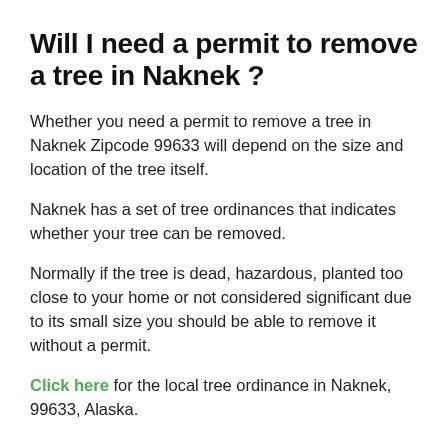Will I need a permit to remove a tree in Naknek ?
Whether you need a permit to remove a tree in Naknek Zipcode 99633 will depend on the size and location of the tree itself.
Naknek has a set of tree ordinances that indicates whether your tree can be removed.
Normally if the tree is dead, hazardous, planted too close to your home or not considered significant due to its small size you should be able to remove it without a permit.
Click here for the local tree ordinance in Naknek, 99633, Alaska.